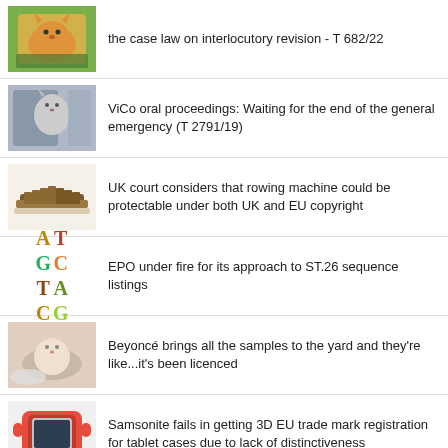the case law on interlocutory revision - T 682/22
ViCo oral proceedings: Waiting for the end of the general emergency (T 2791/19)
UK court considers that rowing machine could be protectable under both UK and EU copyright
EPO under fire for its approach to ST.26 sequence listings
Beyoncé brings all the samples to the yard and they're like...it's been licenced
Samsonite fails in getting 3D EU trade mark registration for tablet cases due to lack of distinctiveness